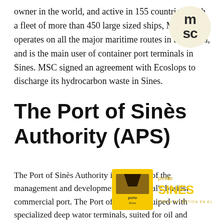owner in the world, and active in 155 countries. With a fleet of more than 450 large sized ships, MSC operates on all the major maritime routes in the world, and is the main user of container port terminals in Sines. MSC signed an agreement with Ecoslops to discharge its hydrocarbon waste in Sines.
[Figure (logo): MSC logo - stylized letters 'msc' in dark color]
The Port of Sinès Authority (APS)
[Figure (logo): Porto de Sines logo - yellow square with ship icon, orange and yellow text reading 'porto de SINES PORTA ATLÂNTICA DA EUROPA']
The Port of Sinès Authority is in charge of the management and development of Portugal's busiest commercial port. The Port of Sinès is equiped with specialized deep wator terminals, suited for oil and petrochemical